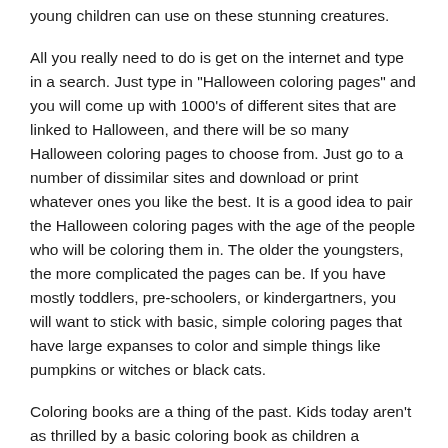young children can use on these stunning creatures.
All you really need to do is get on the internet and type in a search. Just type in "Halloween coloring pages" and you will come up with 1000's of different sites that are linked to Halloween, and there will be so many Halloween coloring pages to choose from. Just go to a number of dissimilar sites and download or print whatever ones you like the best. It is a good idea to pair the Halloween coloring pages with the age of the people who will be coloring them in. The older the youngsters, the more complicated the pages can be. If you have mostly toddlers, pre-schoolers, or kindergartners, you will want to stick with basic, simple coloring pages that have large expanses to color and simple things like pumpkins or witches or black cats.
Coloring books are a thing of the past. Kids today aren't as thrilled by a basic coloring book as children a generation ago. That is because these children have been spoiled by all the fantastic new methods of coloring using the computer or with